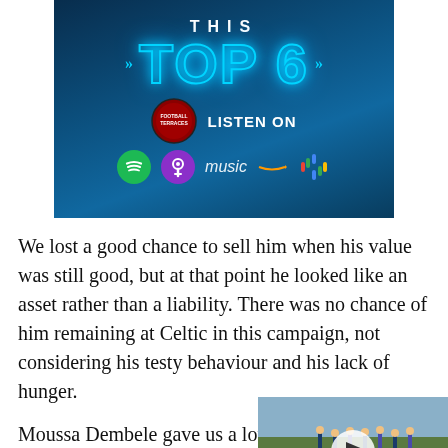[Figure (other): Podcast banner for 'This Top 6' show with 'LISTEN ON' text and platform logos (Spotify, Apple Podcasts, Amazon Music, Google Podcasts) on a blue gradient background]
We lost a good chance to sell him when his value was still good, but at that point he looked like an asset rather than a liability. There was no chance of him remaining at Celtic in this campaign, not considering his testy behaviour and his lack of hunger.
Moussa Dembele gave us a lot of great games before he left, and anger at the manner of his dep
[Figure (screenshot): Video player overlay showing football players training on a pitch, with a play button and X close button]